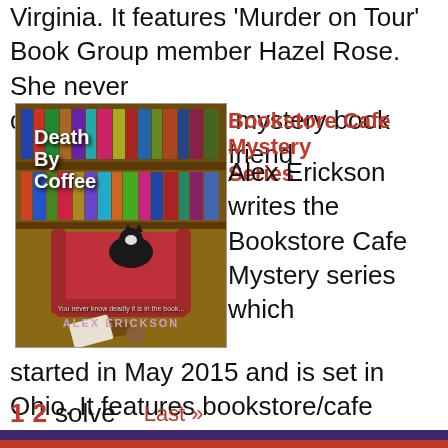Virginia. It features 'Murder on Tour' Book Group member Hazel Rose. She never dreamed mystery book er friend
Bookstore Cafe Mystery Series
[Figure (photo): Book cover for 'Death by Coffee' by Alex Erickson, showing a cat on a red armchair in a library with spilled coffee]
Alex Erickson writes the Bookstore Cafe Mystery series which started in May 2015 and is set in Ohio. It features bookstore/cafe owners Krissy Hancock and her best friend Vicki. Together they solve murders
1 2 Last »